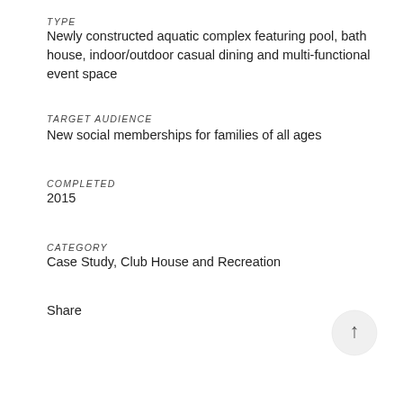TYPE
Newly constructed aquatic complex featuring pool, bath house, indoor/outdoor casual dining and multi-functional event space
TARGET AUDIENCE
New social memberships for families of all ages
COMPLETED
2015
CATEGORY
Case Study, Club House and Recreation
Share
[Figure (illustration): Back to top arrow inside a light grey circle]